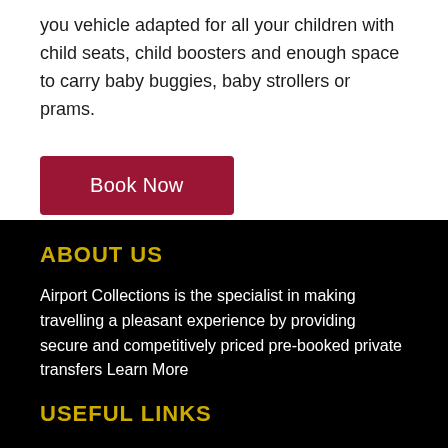you vehicle adapted for all your children with child seats, child boosters and enough space to carry baby buggies, baby strollers or prams.
Book Now
ABOUT US
Airport Collections is the specialist in making travelling a pleasant experience by providing secure and competitively priced pre-booked private transfers Learn More
USEFUL LINKS